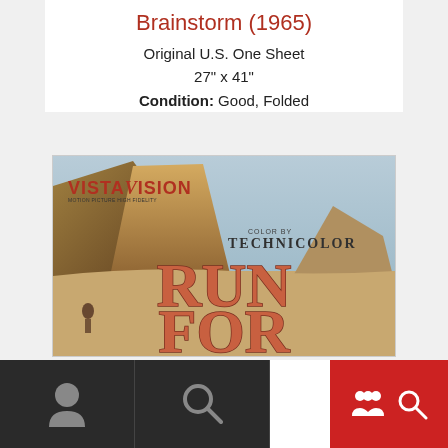Brainstorm (1965)
Original U.S. One Sheet
27" x 41"
Condition: Good, Folded
[Figure (photo): Movie poster for 'Run For' featuring VistaVision and Color by Technicolor branding, with western landscape of buttes and mountains. Large text reads 'RUN FOR' in reddish-brown on aged background.]
Navigation bar with user icon, search icon, and red action bar with icons